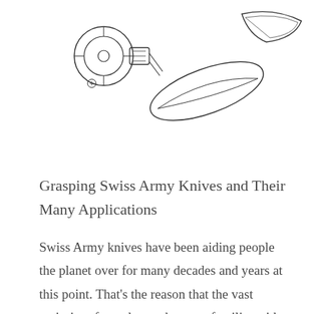[Figure (engineering-diagram): Line drawing / schematic of Swiss Army knife components: a circular dial/wheel mechanism on the left and two elongated blade/tool shapes on the right, rendered in black outline on white background.]
Grasping Swiss Army Knives and Their Many Applications
Swiss Army knives have been aiding people the planet over for many decades and years at this point. That’s the reason that the vast majority of people out there are familiar with them and how they function. If you want to become a Swiss knife connoisseur, however, you should make sure you